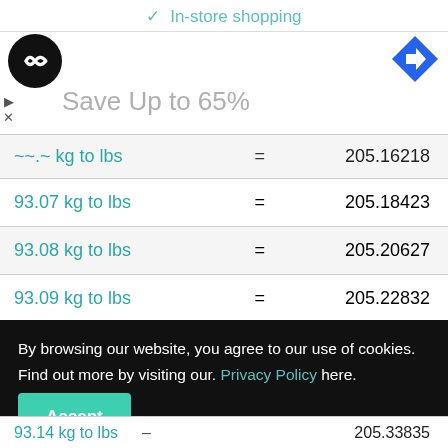✓ In-store shopping
[Figure (logo): Black circle logo with white infinity/loop symbol]
[Figure (other): Blue diamond navigation arrow icon]
Save Up to 65%
| Conversion | = | Result |
| --- | --- | --- |
| 93.0_ kg to lbs | = | 205.16218 |
| 93.07 kg to lbs | = | 205.18423 |
| 93.08 kg to lbs | = | 205.20627 |
| 93.09 kg to lbs | = | 205.22832 |
| 93.1 kg to lbs | = | 205.25037 |
By browsing our website, you agree to our use of cookies. Find out more by visiting our. Privacy Policy here. Accept
93.14 kg to lbs – 205.33835